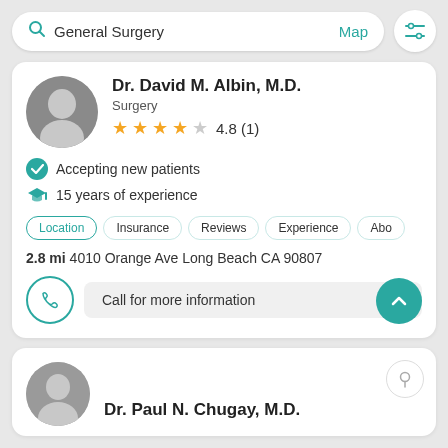[Figure (screenshot): Search bar with 'General Surgery' text, Map link, and filter icon]
Dr. David M. Albin, M.D.
Surgery
4.8 (1)
Accepting new patients
15 years of experience
Location | Insurance | Reviews | Experience | Abo
2.8 mi 4010 Orange Ave Long Beach CA 90807
Call for more information
Dr. Paul N. Chugay, M.D.